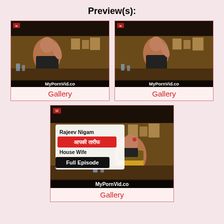Preview(s):
[Figure (screenshot): Video thumbnail showing a woman in a black dress at a bar/restaurant, watermark 'MyPornVid.co']
Gallery
[Figure (screenshot): Video thumbnail showing a woman smiling at a bar/restaurant, watermark 'MyPornVid.co']
Gallery
[Figure (screenshot): Video thumbnail with text overlay 'Rajeev Nigam आपकी तारीफ House Wife Full Episode', watermark 'MyPornVid.co']
Gallery